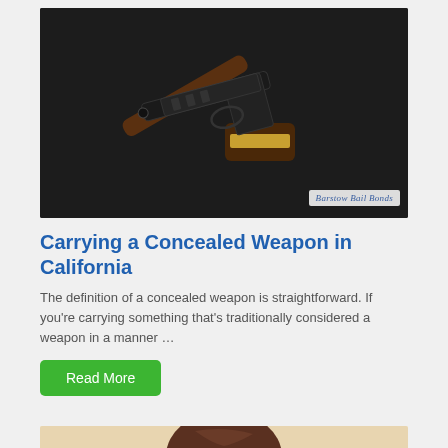[Figure (photo): A dark background with a black handgun and a wooden judge's gavel with a gold band. Watermark reads 'Barstow Bail Bonds' in blue script on white background in bottom right corner.]
Carrying a Concealed Weapon in California
The definition of a concealed weapon is straightforward. If you're carrying something that's traditionally considered a weapon in a manner …
Read More
[Figure (photo): Partial photo showing top of a person's head with brown hair against a beige/cream background.]